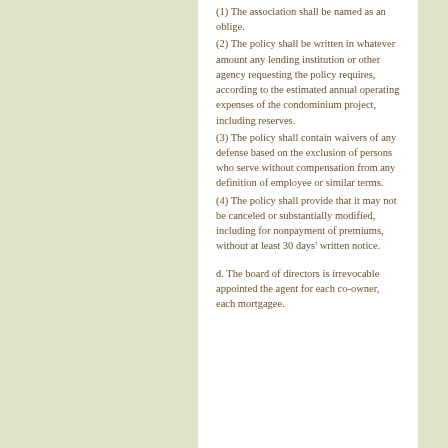(1) The association shall be named as an oblige.
(2) The policy shall be written in whatever amount any lending institution or other agency requesting the policy requires, according to the estimated annual operating expenses of the condominium project, including reserves.
(3) The policy shall contain waivers of any defense based on the exclusion of persons who serve without compensation from any definition of employee or similar terms.
(4) The policy shall provide that it may not be canceled or substantially modified, including for nonpayment of premiums, without at least 30 days' written notice.
d. The board of directors is irrevocable appointed the agent for each co-owner, each mortgagee.